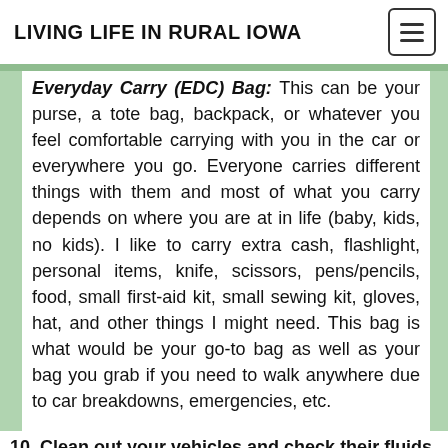LIVING LIFE IN RURAL IOWA
Everyday Carry (EDC) Bag: This can be your purse, a tote bag, backpack, or whatever you feel comfortable carrying with you in the car or everywhere you go. Everyone carries different things with them and most of what you carry depends on where you are at in life (baby, kids, no kids). I like to carry extra cash, flashlight, personal items, knife, scissors, pens/pencils, food, small first-aid kit, small sewing kit, gloves, hat, and other things I might need. This bag is what would be your go-to bag as well as your bag you grab if you need to walk anywhere due to car breakdowns, emergencies, etc.
10. Clean out your vehicles and check their fluids